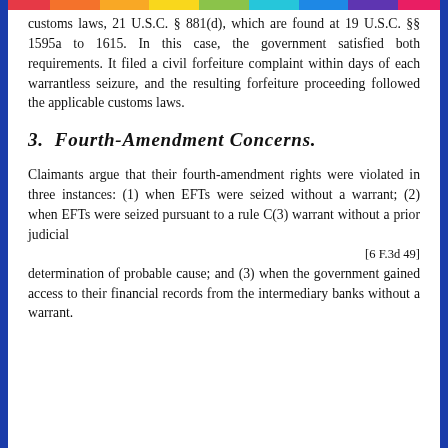customs laws, 21 U.S.C. § 881(d), which are found at 19 U.S.C. §§ 1595a to 1615. In this case, the government satisfied both requirements. It filed a civil forfeiture complaint within days of each warrantless seizure, and the resulting forfeiture proceeding followed the applicable customs laws.
3.  Fourth-Amendment Concerns.
Claimants argue that their fourth-amendment rights were violated in three instances: (1) when EFTs were seized without a warrant; (2) when EFTs were seized pursuant to a rule C(3) warrant without a prior judicial
[6 F.3d 49]
determination of probable cause; and (3) when the government gained access to their financial records from the intermediary banks without a warrant.